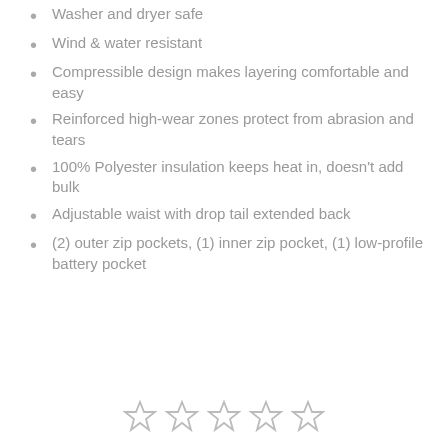Washer and dryer safe
Wind & water resistant
Compressible design makes layering comfortable and easy
Reinforced high-wear zones protect from abrasion and tears
100% Polyester insulation keeps heat in, doesn't add bulk
Adjustable waist with drop tail extended back
(2) outer zip pockets, (1) inner zip pocket, (1) low-profile battery pocket
[Figure (other): Five empty star rating icons in a row]